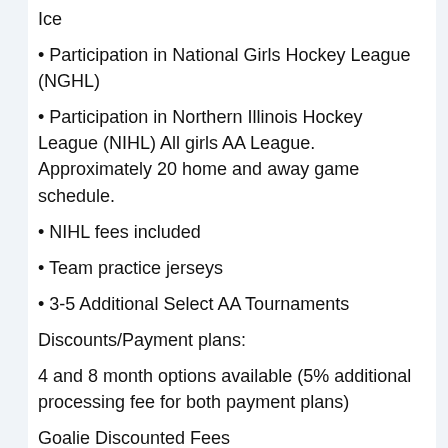Ice
• Participation in National Girls Hockey League (NGHL)
• Participation in Northern Illinois Hockey League (NIHL) All girls AA League. Approximately 20 home and away game schedule.
• NIHL fees included
• Team practice jerseys
• 3-5 Additional Select AA Tournaments
Discounts/Payment plans:
4 and 8 month options available (5% additional processing fee for both payment plans)
Goalie Discounted Fees
Multiple Sibling Discounts (Most expensive player 100%, Next player 30% off, each